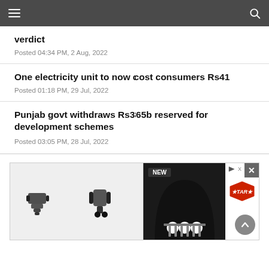verdict
Posted 04:34 PM, 2 Aug, 2022
One electricity unit to now cost consumers Rs41
Posted 01:18 PM, 29 Jul, 2022
Punjab govt withdraws Rs365b reserved for development schemes
Posted 03:05 PM, 28 Jul, 2022
[Figure (other): Advertisement banner showing truck parts and a fender arch component with NEW badge and a logo]